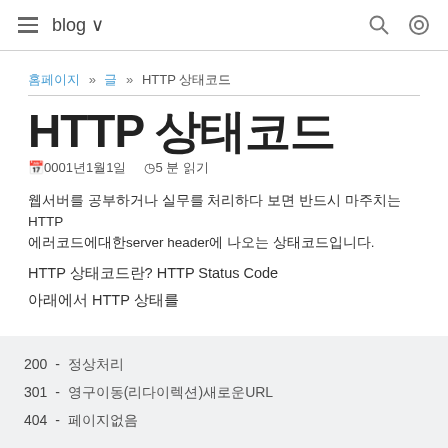≡ blog ∨ [search] [settings]
홈페이지 » 글 » HTTP 상태코드
HTTP 상태코드
📅0001년1월1일 ⏰5 분 읽기
웹서버를 공부하거나 실무를 처리하다 보면 반드시 마주치는 HTTP 에러코드에대한server header에 나오는 상태코드입니다.
HTTP 상태코드란? HTTP Status Code
아래에서 HTTP 상태를
200 - 정상처리
301 - 영구이동(리다이렉션)새로운URL
404 - 페이지없음